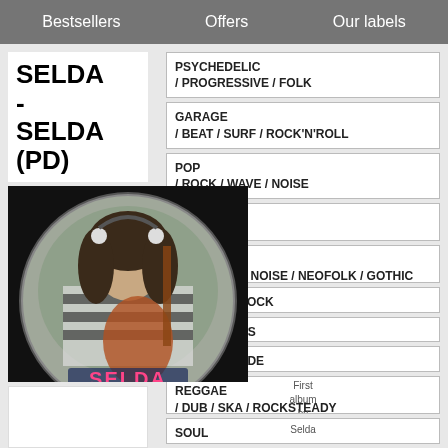Bestsellers   Offers   Our labels
SELDA - SELDA (PD)
[Figure (photo): Album cover photo showing a woman in a striped sweater playing guitar, displayed as a circular picture disc on black background. Pink 'SELDA' text visible at bottom of disc.]
PSYCHEDELIC / PROGRESSIVE / FOLK
GARAGE / BEAT / SURF / ROCK'N'ROLL
POP / ROCK / WAVE / NOISE
PUNK / ...ORE
...RIAL / ...MENTAL / NOISE / NEOFOLK / GOTHIC
...R / HARDROCK
...RY / OLDIES
/ AVANTGARDE
REGGAE / DUB / SKA / ROCKSTEADY
SOUL
First album by Selda